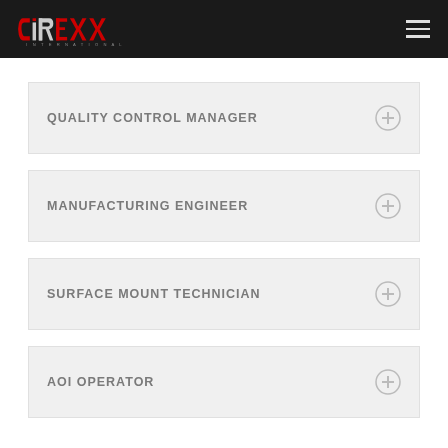CIREXX INTERNATIONAL
QUALITY CONTROL MANAGER
MANUFACTURING ENGINEER
SURFACE MOUNT TECHNICIAN
AOI OPERATOR